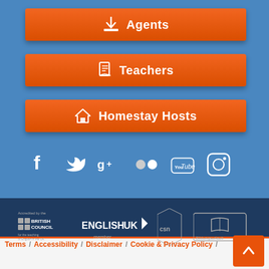[Figure (screenshot): Orange button with download icon labeled Agents]
[Figure (screenshot): Orange button with book icon labeled Teachers]
[Figure (screenshot): Orange button with house icon labeled Homestay Hosts]
[Figure (screenshot): Social media icons row: Facebook, Twitter, Google+, Flickr, YouTube, Instagram on blue background]
[Figure (screenshot): Accreditation logos: British Council, English UK member, CSN, Bildungsurlaub on dark blue background]
Terms / Accessibility / Disclaimer / Cookie & Privacy Policy /